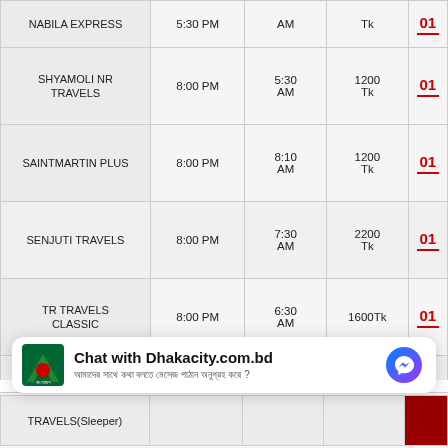| Service | Departure | Arrival | Fare |  |
| --- | --- | --- | --- | --- |
| NABILA EXPRESS | 5:30 PM | AM | Tk | 01 |
| SHYAMOLI NR TRAVELS | 8:00 PM | 5:30 AM | 1200 Tk | 01 |
| SAINTMARTIN PLUS | 8:00 PM | 8:10 AM | 1200 Tk | 01 |
| SENJUTI TRAVELS | 8:00 PM | 7:30 AM | 2200 Tk | 01 |
| TR TRAVELS CLASSIC | 8:00 PM | 6:30 AM | 1600Tk | 01 |
| SAINTMARTIN PARIBAHAN | 8:15 PM | 7:40 AM | 1500 Tk | 01 |
| TRAVELS(Sleeper) |  |  |  |  |
[Figure (screenshot): Chat with Dhakacity.com.bd messenger widget overlay with logo and Bengali subtitle text]